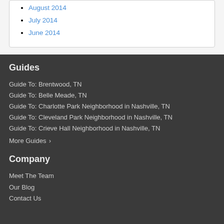August 2014
July 2014
June 2014
Guides
Guide To: Brentwood, TN
Guide To: Belle Meade, TN
Guide To: Charlotte Park Neighborhood in Nashville, TN
Guide To: Cleveland Park Neighborhood in Nashville, TN
Guide To: Crieve Hall Neighborhood in Nashville, TN
More Guides ›
Company
Meet The Team
Our Blog
Contact Us